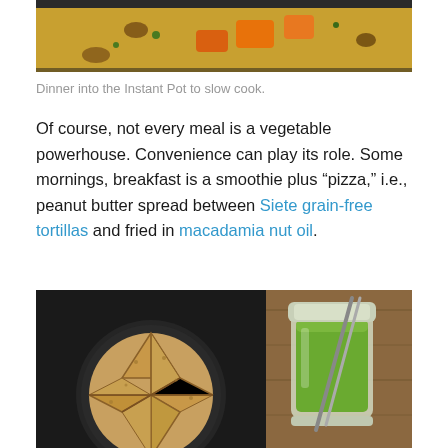[Figure (photo): Top portion of a bowl of curry or stew with vegetables including orange-colored squash pieces, cooked in a pot]
Dinner into the Instant Pot to slow cook.
Of course, not every meal is a vegetable powerhouse. Convenience can play its role. Some mornings, breakfast is a smoothie plus “pizza,” i.e., peanut butter spread between Siete grain-free tortillas and fried in macadamia nut oil.
[Figure (photo): A black plate with grain-free tortilla slices cut into triangles arranged in a circle, alongside a glass jar filled with green smoothie with a metal straw, on a wooden surface]